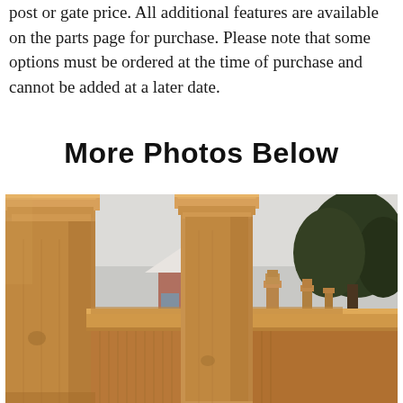post or gate price. All additional features are available on the parts page for purchase. Please note that some options must be ordered at the time of purchase and cannot be added at a later date.
More Photos Below
[Figure (photo): Photograph of a cedar wood privacy fence with decorative post caps. Tall wooden posts with pyramid-cap finials, horizontal cap rail, and vertical board panels. A brick house with white peaked roof is visible in the background center, and trees on the right. Multiple fence sections recede into the distance.]